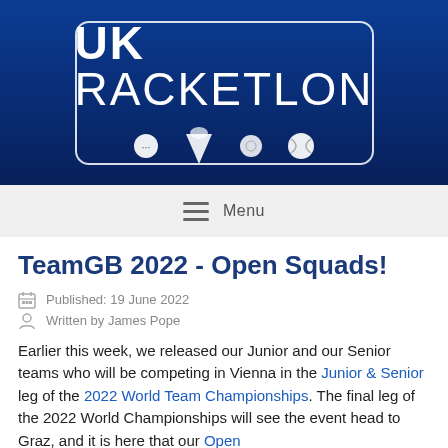[Figure (logo): UK Racketlon logo — white text on dark blue gradient background inside a rounded rectangle border, with sport icons (table tennis ball, badminton shuttlecock, squash ball, tennis ball)]
Menu
TeamGB 2022 - Open Squads!
Published: 19 June 2022
Written by James Pope
Earlier this week, we released our Junior and our Senior teams who will be competing in Vienna in the Junior & Senior leg of the 2022 World Team Championships. The final leg of the 2022 World Championships will see the event head to Graz, and it is here that our Open team will be competing. As you might recall, that also has...